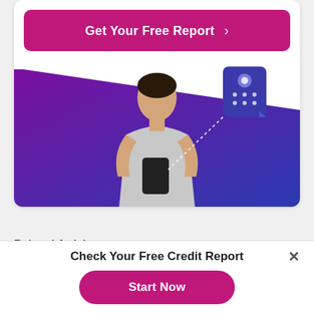[Figure (other): A white card with a magenta 'Get Your Free Report >' button at top and an illustration of a man looking at his phone with a purple-to-blue gradient background shape and a credit report icon]
Related Articles:
[Figure (photo): Partial photo strip visible at bottom of page (related article image)]
Check Your Free Credit Report
[Figure (other): Start Now button in magenta pill shape]